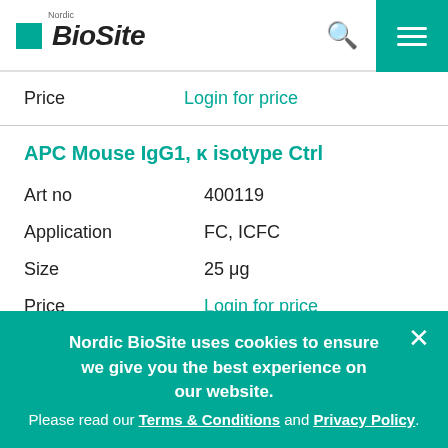Nordic BioSite
| Price | Login for price |
APC Mouse IgG1, κ isotype Ctrl
| Art no | 400119 |
| Application | FC, ICFC |
| Size | 25 μg |
| Price | Login for price |
Nordic BioSite uses cookies to ensure we give you the best experience on our website. Please read our Terms & Conditions and Privacy Policy.